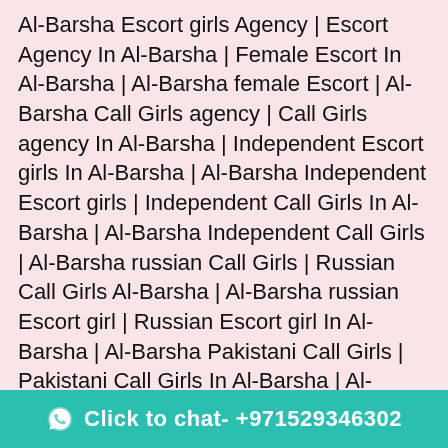Al-Barsha Escort girls Agency | Escort Agency In Al-Barsha | Female Escort In Al-Barsha | Al-Barsha female Escort | Al-Barsha Call Girls agency | Call Girls agency In Al-Barsha | Independent Escort girls In Al-Barsha | Al-Barsha Independent Escort girls | Independent Call Girls In Al-Barsha | Al-Barsha Independent Call Girls | Al-Barsha russian Call Girls | Russian Call Girls Al-Barsha | Al-Barsha russian Escort girl | Russian Escort girl In Al-Barsha | Al-Barsha Pakistani Call Girls | Pakistani Call Girls In Al-Barsha | Al-Barsha pakistani Escort girl | Al-Barsha meture Call Girls | Meture Call Girls In Al-Barsha | Freelance Escort girls In Al-Barsha | Al-Barsha freelance Escort girls | Freelance Call Girls In Al-Barsha | Al-Barsha freelance Call Girls | Al-Barsha lady service | Lady service In Al-Barsha | Bollywood Escort girls In Al-Barsha | Al-Barsha Call Girls bollywood | Vip Call Girls In Al-Barsha | Al-Barsha vip Call Girls | Hi profile Escort girls In Al-Barsha | Al-Barsha Hi profile Escort girls In Al-Barsha | Al-Barsha Call Girls pics | Escort girls pics In
[Figure (other): WhatsApp chat button with text 'Click to chat- +971529346302' on teal/green background]